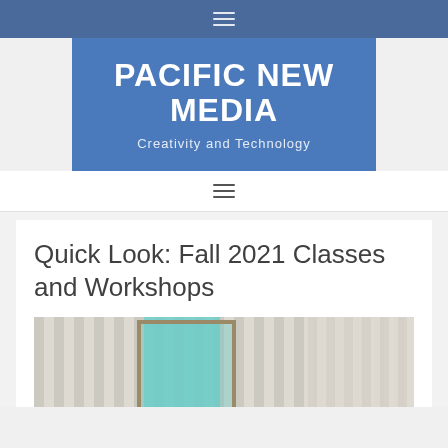☰
PACIFIC NEW MEDIA
Creativity and Technology
☰
Quick Look: Fall 2021 Classes and Workshops
[Figure (photo): Interior architectural photo showing vertical ribbed wall panels and a window with teal/green glass, likely a classroom or building interior]